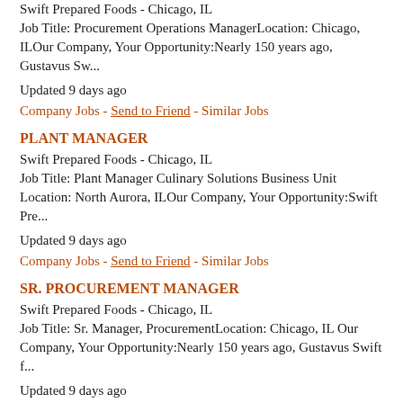Swift Prepared Foods - Chicago, IL
Job Title: Procurement Operations ManagerLocation: Chicago, ILOur Company, Your Opportunity:Nearly 150 years ago, Gustavus Sw...
Updated 9 days ago
Company Jobs - Send to Friend - Similar Jobs
PLANT MANAGER
Swift Prepared Foods - Chicago, IL
Job Title: Plant Manager Culinary Solutions Business Unit Location: North Aurora, ILOur Company, Your Opportunity:Swift Pre...
Updated 9 days ago
Company Jobs - Send to Friend - Similar Jobs
SR. PROCUREMENT MANAGER
Swift Prepared Foods - Chicago, IL
Job Title: Sr. Manager, ProcurementLocation: Chicago, IL Our Company, Your Opportunity:Nearly 150 years ago, Gustavus Swift f...
Updated 9 days ago
Company Jobs - Send to Friend - Similar Jobs